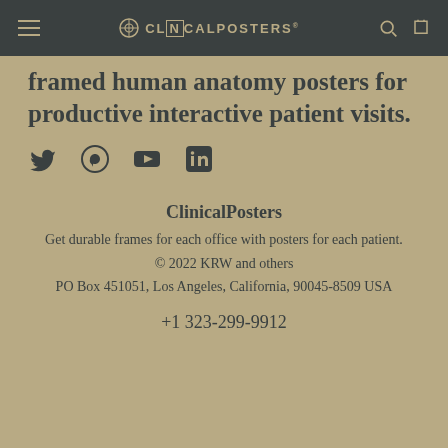ClinicalPosters navigation bar with logo, search, and cart icons
framed human anatomy posters for productive interactive patient visits.
[Figure (other): Social media icons: Twitter, Pinterest, YouTube, LinkedIn]
ClinicalPosters
Get durable frames for each office with posters for each patient.
© 2022 KRW and others
PO Box 451051, Los Angeles, California, 90045-8509 USA
+1 323-299-9912